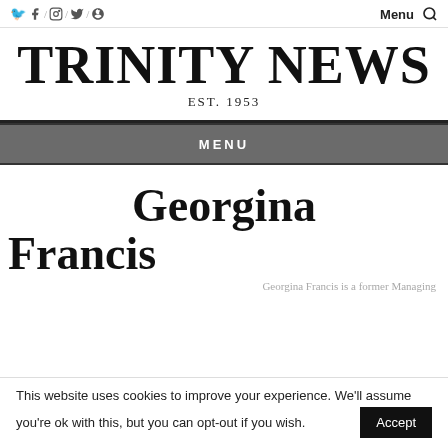f / @ / t / s    Menu 🔍
TRINITY NEWS
EST. 1953
MENU
Georgina
Francis
Georgina Francis is a former Managing
This website uses cookies to improve your experience. We'll assume you're ok with this, but you can opt-out if you wish.  Accept